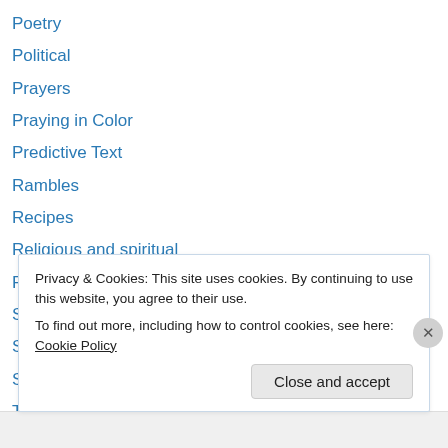Poetry
Political
Prayers
Praying in Color
Predictive Text
Rambles
Recipes
Religious and spiritual
Resources
Stories
Strange but true
Survival
Tales from kindergarten
Privacy & Cookies: This site uses cookies. By continuing to use this website, you agree to their use. To find out more, including how to control cookies, see here: Cookie Policy
Close and accept